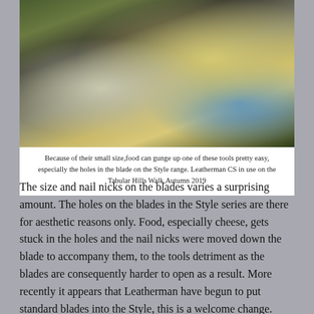[Figure (photo): Close-up photograph of hands holding a Leatherman CS multi-tool with blade open, shaving wood from a stick. Blurred background shows outdoor setting with grass and blue tape on a container.]
Because of their small size,food can gunge up one of these tools pretty easy, especially the holes in the blade on the Style range. Leatherman CS in use on the Tabular Hills Walk,Autumn 2019
The size and nail nicks on the blades varies a surprising amount. The holes on the blades in the Style series are there for aesthetic reasons only. Food, especially cheese, gets stuck in the holes and the nail nicks were moved down the blade to accompany them, to the tools detriment as the blades are consequently harder to open as a result. More recently it appears that Leatherman have begun to put standard blades into the Style, this is a welcome change.